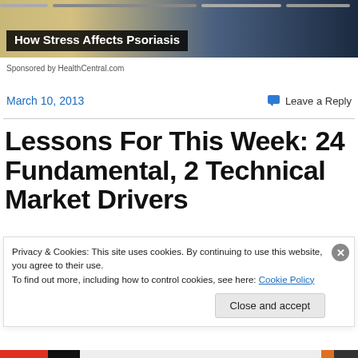[Figure (photo): Top banner image showing a person in a casual setting, with horizontal progress/navigation bars overlaid at top, and a dark overlay title box reading 'How Stress Affects Psoriasis']
Sponsored by HealthCentral.com
March 10, 2013
Leave a Reply
Lessons For This Week: 24 Fundamental, 2 Technical Market Drivers
Privacy & Cookies: This site uses cookies. By continuing to use this website, you agree to their use.
To find out more, including how to control cookies, see here: Cookie Policy